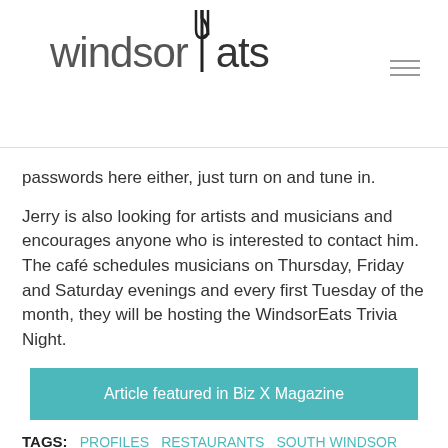windsorEats
passwords here either, just turn on and tune in.
Jerry is also looking for artists and musicians and encourages anyone who is interested to contact him. The café schedules musicians on Thursday, Friday and Saturday evenings and every first Tuesday of the month, they will be hosting the WindsorEats Trivia Night.
[Figure (other): Teal button linking to Article featured in Biz X Magazine]
TAGS: PROFILES RESTAURANTS SOUTH WINDSOR WINDSOR